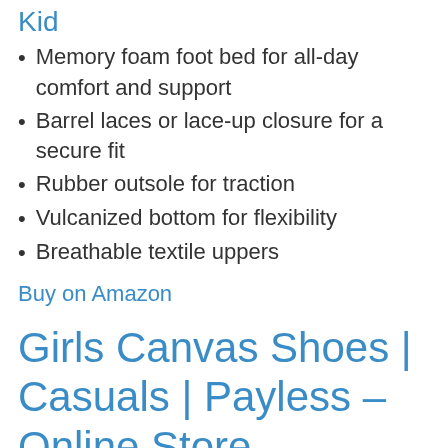Kid
Memory foam foot bed for all-day comfort and support
Barrel laces or lace-up closure for a secure fit
Rubber outsole for traction
Vulcanized bottom for flexibility
Breathable textile uppers
Buy on Amazon
Girls Canvas Shoes | Casuals | Payless – Online Store
Shop a wide variety of canvas casual shoes